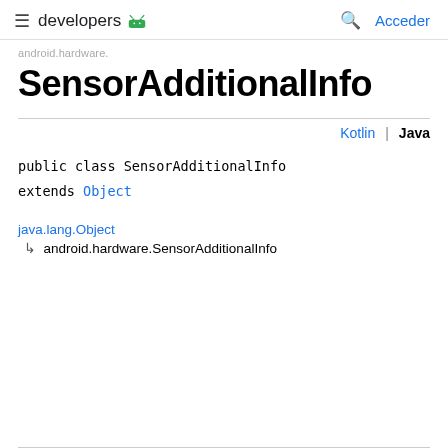≡ developers 🤖  🔍 Acceder
android.hardware.
SensorAdditionalInfo
Kotlin | Java
public class SensorAdditionalInfo
extends Object
java.lang.Object
↳ android.hardware.SensorAdditionalInfo